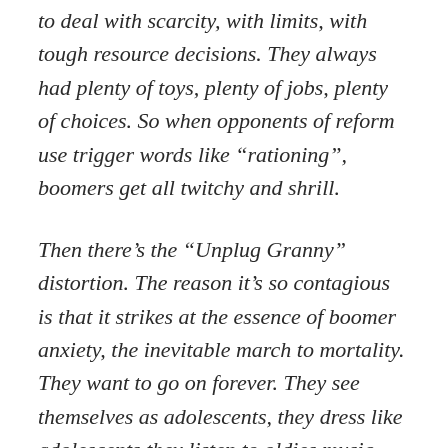to deal with scarcity, with limits, with tough resource decisions. They always had plenty of toys, plenty of jobs, plenty of choices. So when opponents of reform use trigger words like “rationing”, boomers get all twitchy and shrill.
Then there’s the “Unplug Granny” distortion. The reason it’s so contagious is that it strikes at the essence of boomer anxiety, the inevitable march to mortality. They want to go on forever. They see themselves as adolescents, they dress like adolescents,they listen to oldies music that suspends them in adolescent amber. [...] Talk to physicians in any area with a high